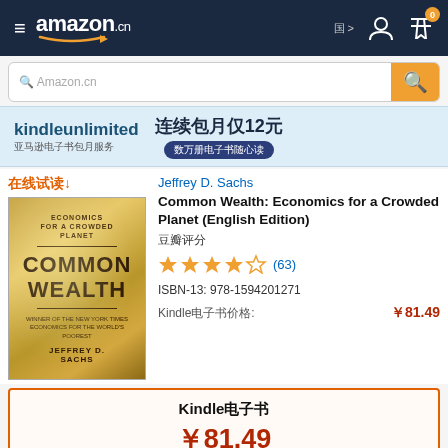[Figure (screenshot): Amazon.cn mobile app navigation bar with hamburger menu, Amazon logo with .cn suffix, user icon and cart with 0 badge]
[Figure (screenshot): Search bar with Amazon.cn placeholder text and orange search button]
[Figure (screenshot): Kindle Unlimited banner: kindleunlimited 连续包月仅12元 亚马逊电子书包月服务 数万册电子书随心读]
在线试读↓
[Figure (photo): Book cover for Common Wealth: Economics for a Crowded Planet by Jeffrey D. Sachs - gold colored cover]
Jeffrey D. Sachs
Common Wealth: Economics for a Crowded Planet (English Edition)
豆瓣评分
★★★★☆ (63)
ISBN-13: 978-1594201271
Kindle电子书价格: ￥81.49
Kindle电子书 ￥81.49